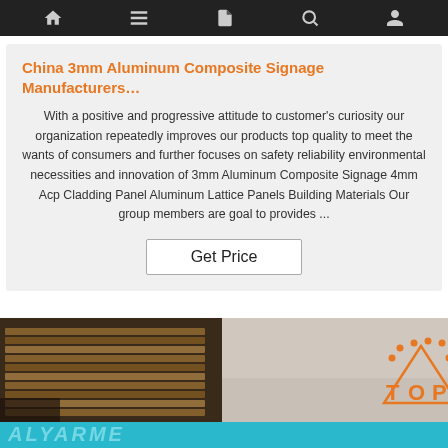Navigation bar with home, menu, document, search, and user icons
China 3mm Aluminum Composite Signage Manufacturers…
With a positive and progressive attitude to customer's curiosity our organization repeatedly improves our products top quality to meet the wants of consumers and further focuses on safety reliability environmental necessities and innovation of 3mm Aluminum Composite Signage 4mm Acp Cladding Panel Aluminum Lattice Panels Building Materials Our group members are goal to provides ...
Get Price
[Figure (photo): Bottom section showing stacked wooden/aluminum panels on left and a light-colored surface on right with a TOP orange logo badge. A teal/cyan strip runs along the very bottom with a watermark text overlay.]